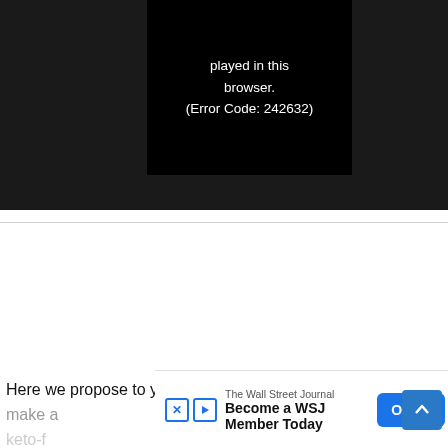[Figure (screenshot): Video player showing error message on dark background: 'played in this browser. (Error Code: 242632)']
Here we propose to you a hearty keto dish that is easy to make a
very
keto-f
[Figure (screenshot): Advertisement banner: The Wall Street Journal - Become a WSJ Member Today - OPEN button]